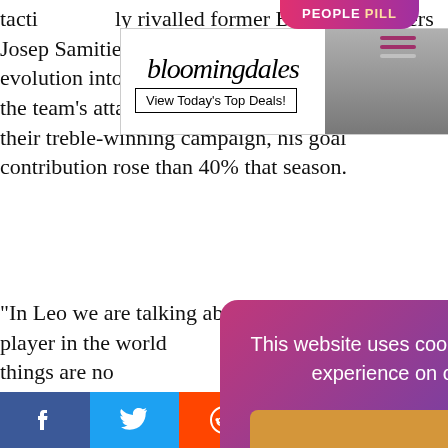[Figure (screenshot): Bloomingdale's advertisement banner with hat model, 'View Today's Top Deals!' tagline and 'SHOP NOW >' button]
tacti... ly rivalled former Barcelona players Josep Samitier, László Kubala a... Cruyff. Since his evolution into a false nine three years e... input into the team's attack had increased exponentially; their treble-winning campaign, his goal contribution rose than 40% that season.
"In Leo we are talking about the best player in the world... things are no... if he his presence... olay —Defender G... ce o... Messi agains...
[Figure (screenshot): Cookie consent popup with gradient purple-pink background reading: 'This website uses cookies to ensure you get the best experience on our website. Learn more' with a 'Got it!' button]
After four lar... njurie...
[Figure (screenshot): Social media share bar with Facebook, Twitter, Reddit, LinkedIn, and WhatsApp buttons]